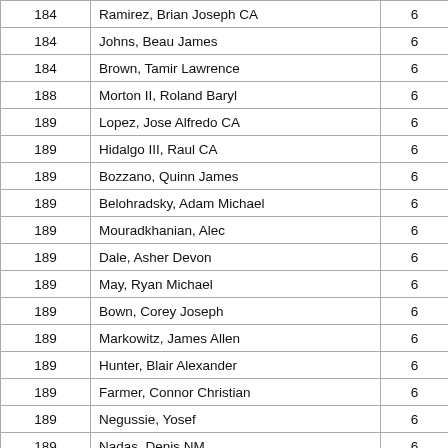| 184 | Ramirez, Brian Joseph CA | 6 |
| 184 | Johns, Beau James | 6 |
| 184 | Brown, Tamir Lawrence | 6 |
| 188 | Morton II, Roland Baryl | 6 |
| 189 | Lopez, Jose Alfredo CA | 6 |
| 189 | Hidalgo III, Raul CA | 6 |
| 189 | Bozzano, Quinn James | 6 |
| 189 | Belohradsky, Adam Michael | 6 |
| 189 | Mouradkhanian, Alec | 6 |
| 189 | Dale, Asher Devon | 6 |
| 189 | May, Ryan Michael | 6 |
| 189 | Bown, Corey Joseph | 6 |
| 189 | Markowitz, James Allen | 6 |
| 189 | Hunter, Blair Alexander | 6 |
| 189 | Farmer, Connor Christian | 6 |
| 189 | Negussie, Yosef | 6 |
| 189 | Nadas, Denis NM | 6 |
| 189 | Jacy, William | 6 |
| 189 | Nguyen, Tam Thanh CA | 6 |